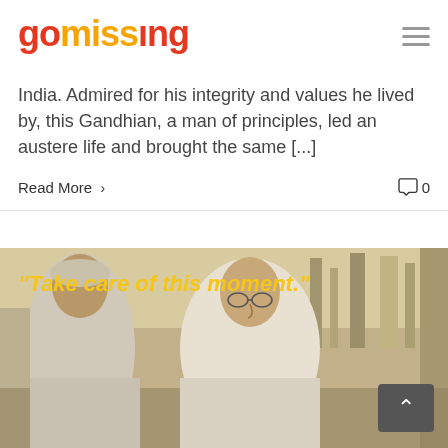gomissing
India. Admired for his integrity and values he lived by, this Gandhian, a man of principles, led an austere life and brought the same [...]
Read More >   0
[Figure (photo): Black and white photograph of Mahatma Gandhi smiling, overlaid with yellow italic quote text: "Take care of this moment."]